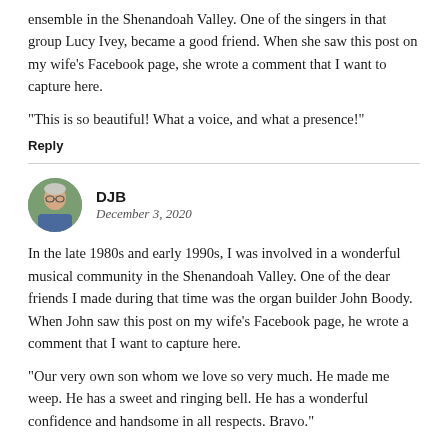ensemble in the Shenandoah Valley. One of the singers in that group Lucy Ivey, became a good friend. When she saw this post on my wife's Facebook page, she wrote a comment that I want to capture here.
“This is so beautiful! What a voice, and what a presence!”
Reply
[Figure (photo): Avatar photo of commenter DJB — an elderly man with glasses outdoors]
DJB
December 3, 2020
In the late 1980s and early 1990s, I was involved in a wonderful musical community in the Shenandoah Valley. One of the dear friends I made during that time was the organ builder John Boody. When John saw this post on my wife’s Facebook page, he wrote a comment that I want to capture here.
“Our very own son whom we love so very much. He made me weep. He has a sweet and ringing bell. He has a wonderful confidence and handsome in all respects. Bravo.”